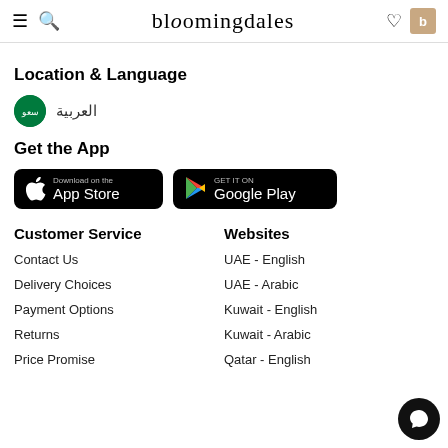bloomingdales
Location & Language
العربية
Get the App
[Figure (other): App Store and Google Play download buttons]
Customer Service
Websites
Contact Us
UAE - English
Delivery Choices
UAE - Arabic
Payment Options
Kuwait - English
Returns
Kuwait - Arabic
Price Promise
Qatar - English